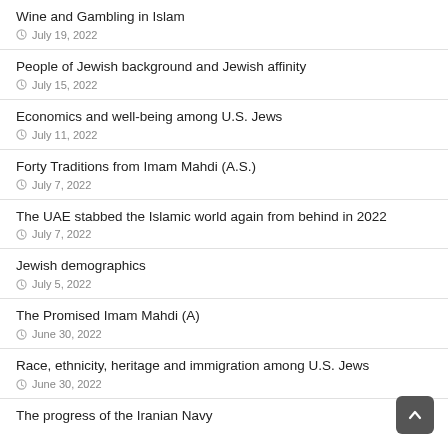Wine and Gambling in Islam
⊙ July 19, 2022
People of Jewish background and Jewish affinity
⊙ July 15, 2022
Economics and well-being among U.S. Jews
⊙ July 11, 2022
Forty Traditions from Imam Mahdi (A.S.)
⊙ July 7, 2022
The UAE stabbed the Islamic world again from behind in 2022
⊙ July 7, 2022
Jewish demographics
⊙ July 5, 2022
The Promised Imam Mahdi (A)
⊙ June 30, 2022
Race, ethnicity, heritage and immigration among U.S. Jews
⊙ June 30, 2022
The progress of the Iranian Navy